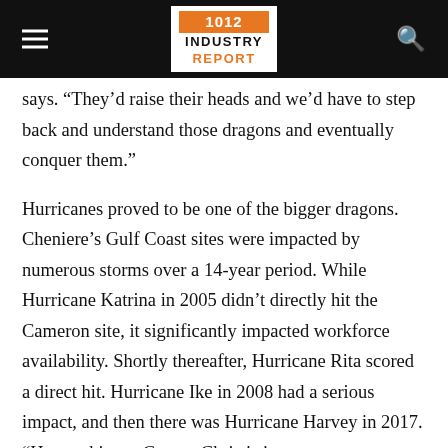1012 INDUSTRY REPORT
says. “They’d raise their heads and we’d have to step back and understand those dragons and eventually conquer them.”
Hurricanes proved to be one of the bigger dragons. Cheniere’s Gulf Coast sites were impacted by numerous storms over a 14-year period. While Hurricane Katrina in 2005 didn’t directly hit the Cameron site, it significantly impacted workforce availability. Shortly thereafter, Hurricane Rita scored a direct hit. Hurricane Ike in 2008 had a serious impact, and then there was Hurricane Harvey in 2017. “Harvey hit our Corpus Christi site